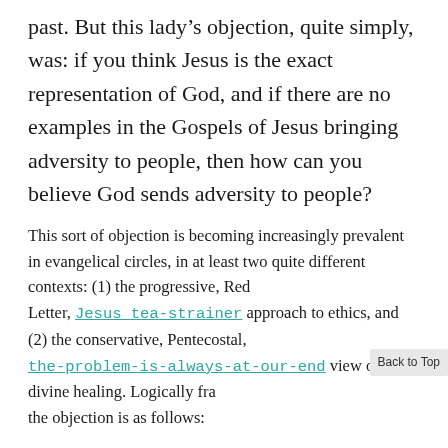past. But this lady's objection, quite simply, was: if you think Jesus is the exact representation of God, and if there are no examples in the Gospels of Jesus bringing adversity to people, then how can you believe God sends adversity to people?
This sort of objection is becoming increasingly prevalent in evangelical circles, in at least two quite different contexts: (1) the progressive, Red Letter, Jesus tea-strainer approach to ethics, and (2) the conservative, Pentecostal, the-problem-is-always-at-our-end view of divine healing. Logically fra[ming] the objection is as follows: